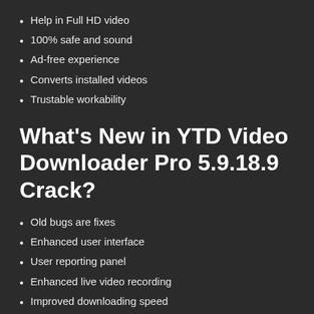Help in Full HD video
100% safe and sound
Ad-free experience
Converts installed videos
Trustable workability
What's New in YTD Video Downloader Pro 5.9.18.9 Crack?
Old bugs are fixes
Enhanced user interface
User reporting panel
Enhanced live video recording
Improved downloading speed
Pros: